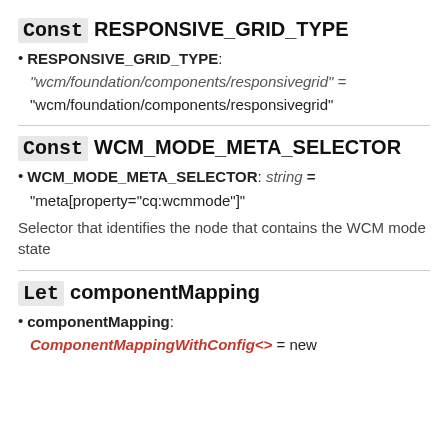Const RESPONSIVE_GRID_TYPE
RESPONSIVE_GRID_TYPE: "wcm/foundation/components/responsivegrid" = "wcm/foundation/components/responsivegrid"
Const WCM_MODE_META_SELECTOR
WCM_MODE_META_SELECTOR: string = "meta[property=\"cq:wcmmode\"]"
Selector that identifies the node that contains the WCM mode state
Let componentMapping
componentMapping: ComponentMappingWithConfig<> = new